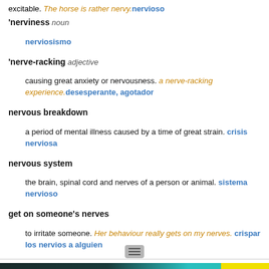excitable. The horse is rather nervy. nervioso
'nerviness noun — nerviosismo
'nerve-racking adjective — causing great anxiety or nervousness. a nerve-racking experience. desesperante, agotador
nervous breakdown — a period of mental illness caused by a time of great strain. crisis nerviosa
nervous system — the brain, spinal cord and nerves of a person or animal. sistema nervioso
get on someone's nerves — to irritate someone. Her behaviour really gets on my nerves. crispar los nervios a alguien
"CITE" — Kernerman English Multilingual Dictionary © 2006-2013 K Dictionaries Ltd.
nerve → frescura, nervio, valor
[Figure (screenshot): Advertisement banner: PERSPECTIVE SEE WHAT YOU'RE MISSING with READ MORE button]